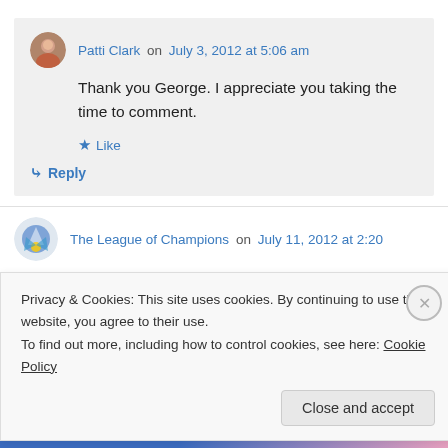Patti Clark on July 3, 2012 at 5:06 am
Thank you George. I appreciate you taking the time to comment.
Like
Reply
The League of Champions on July 11, 2012 at 2:20
Privacy & Cookies: This site uses cookies. By continuing to use this website, you agree to their use.
To find out more, including how to control cookies, see here: Cookie Policy
Close and accept